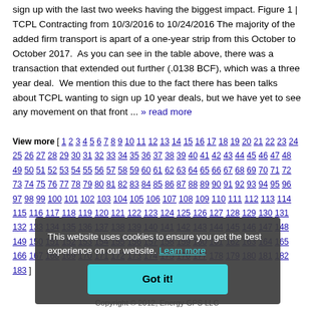sign up with the last two weeks having the biggest impact. Figure 1 | TCPL Contracting from 10/3/2016 to 10/24/2016 The majority of the added firm transport is apart of a one-year strip from this October to October 2017.  As you can see in the table above, there was a transaction that extended out further (.0138 BCF), which was a three year deal.  We mention this due to the fact there has been talks about TCPL wanting to sign up 10 year deals, but we have yet to see any movement on that front ... » read more
View more [ 1 2 3 4 5 6 7 8 9 10 11 12 13 14 15 16 17 18 19 20 21 22 23 24 25 26 27 28 29 30 31 32 33 34 35 36 37 38 39 40 41 42 43 44 45 46 47 48 49 50 51 52 53 54 55 56 57 58 59 60 61 62 63 64 65 66 67 68 69 70 71 72 73 74 75 76 77 78 79 80 81 82 83 84 85 86 87 88 89 90 91 92 93 94 95 96 97 98 99 100 101 102 103 104 105 106 107 108 109 110 111 112 113 114 115 116 117 118 119 120 121 122 123 124 125 126 127 128 129 130 131 132 133 134 135 136 137 138 139 140 141 142 143 144 145 146 147 148 149 150 151 152 153 154 155 156 157 158 159 160 161 162 163 164 165 166 167 168 169 170 171 172 173 174 175 176 177 178 179 180 181 182 183 ]
This website uses cookies to ensure you get the best experience on our website. Learn more
Copyright © 2012, Energy GPS LLC